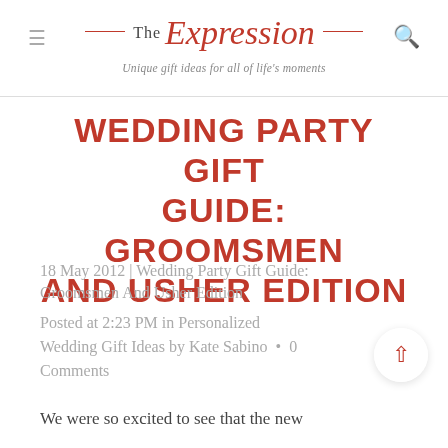The Expression — Unique gift ideas for all of life's moments
WEDDING PARTY GIFT GUIDE: GROOMSMEN AND USHER EDITION
18 May 2012 | Wedding Party Gift Guide: Groomsmen And Usher Edition
Posted at 2:23 PM in Personalized Wedding Gift Ideas by Kate Sabino • 0 Comments
We were so excited to see that the new